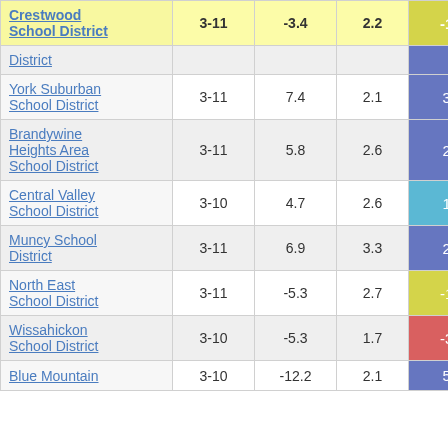| School District | Grades | Col3 | Col4 | Score |  |
| --- | --- | --- | --- | --- | --- |
| Crestwood School District | 3-11 | -3.4 | 2.2 | -1.52 |  |
| District |  |  |  |  |  |
| York Suburban School District | 3-11 | 7.4 | 2.1 | 3.55 |  |
| Brandywine Heights Area School District | 3-11 | 5.8 | 2.6 | 2.27 |  |
| Central Valley School District | 3-10 | 4.7 | 2.6 | 1.83 |  |
| Muncy School District | 3-11 | 6.9 | 3.3 | 2.12 |  |
| North East School District | 3-11 | -5.3 | 2.7 | -1.97 |  |
| Wissahickon School District | 3-10 | -5.3 | 1.7 | -3.14 |  |
| Blue Mountain | 3-10 | -12.2 | 2.1 | 5.81 |  |